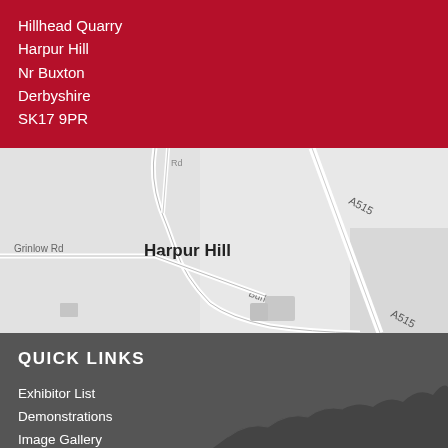Hillhead Quarry
Harpur Hill
Nr Buxton
Derbyshire
SK17 9PR
[Figure (map): Street map showing Harpur Hill area near Buxton, Derbyshire. Roads visible include A515, Grinlow Rd, and Burlow Rd. The label 'Harpur Hill' appears prominently on the map.]
QUICK LINKS
Exhibitor List
Demonstrations
Image Gallery
News
Visit
Exhibit